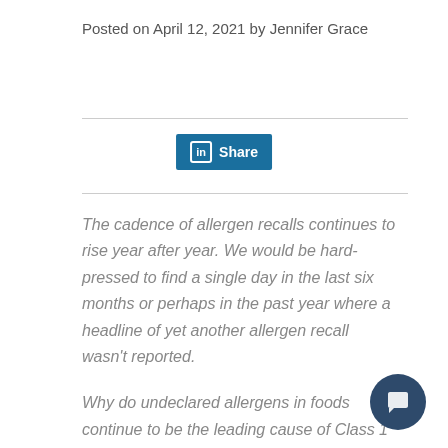Posted on April 12, 2021 by Jennifer Grace
[Figure (other): LinkedIn Share button]
The cadence of allergen recalls continues to rise year after year. We would be hard-pressed to find a single day in the last six months or perhaps in the past year where a headline of yet another allergen recall wasn't reported.
Why do undeclared allergens in foods continue to be the leading cause of Class 1 recalls? What is the right